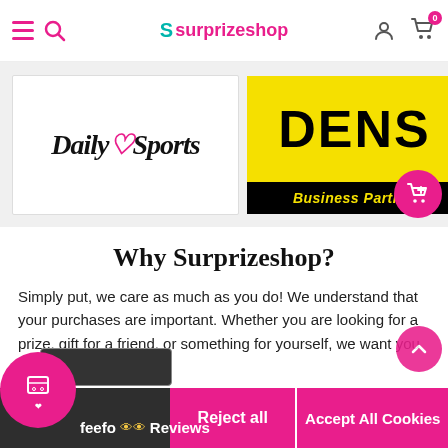surprizeshop - navigation header with hamburger menu, search, logo, user icon, cart (0)
[Figure (logo): Daily Sports brand logo in italic serif font on white background]
[Figure (logo): DENS Business Partner logo - yellow background with black text DENS, black strip with yellow text Business Partner]
Why Surprizeshop?
Simply put, we care as much as you do! We understand that your purchases are important. Whether you are looking for a prize, gift for a friend, or something for yourself, we want you to be
We use cookies (and other similar technologies) to collect data to improve our shopping experience.
Reject all | Accept All Cookies | feefo Reviews